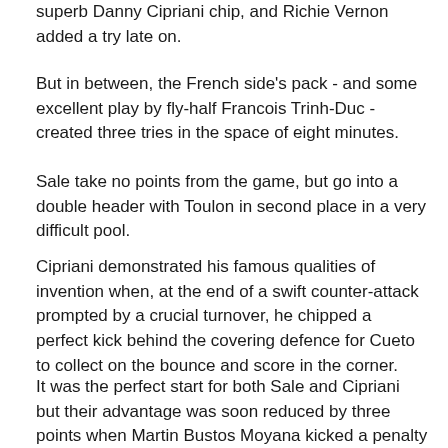superb Danny Cipriani chip, and Richie Vernon added a try late on.
But in between, the French side's pack - and some excellent play by fly-half Francois Trinh-Duc - created three tries in the space of eight minutes.
Sale take no points from the game, but go into a double header with Toulon in second place in a very difficult pool.
Cipriani demonstrated his famous qualities of invention when, at the end of a swift counter-attack prompted by a crucial turnover, he chipped a perfect kick behind the covering defence for Cueto to collect on the bounce and score in the corner.
It was the perfect start for both Sale and Cipriani but their advantage was soon reduced by three points when Martin Bustos Moyana kicked a penalty and then the wing put the hosts in front with his second shot at goal eight mintues later.